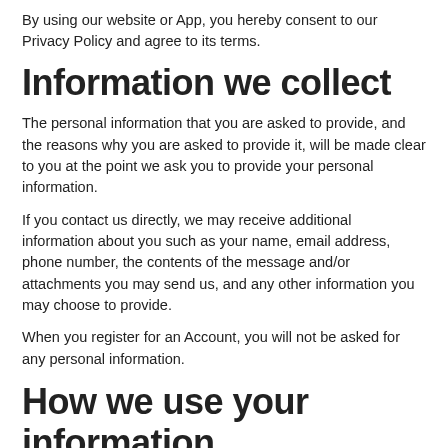By using our website or App, you hereby consent to our Privacy Policy and agree to its terms.
Information we collect
The personal information that you are asked to provide, and the reasons why you are asked to provide it, will be made clear to you at the point we ask you to provide your personal information.
If you contact us directly, we may receive additional information about you such as your name, email address, phone number, the contents of the message and/or attachments you may send us, and any other information you may choose to provide.
When you register for an Account, you will not be asked for any personal information.
How we use your information